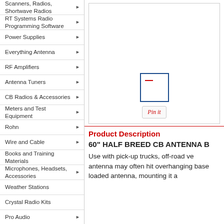Scanners, Radios, Shortwave Radios
RT Systems Radio Programming Software
Power Supplies
Everything Antenna
RF Amplifiers
Antenna Tuners
CB Radios & Accessories
Meters and Test Equipment
Rohn
Wire and Cable
Books and Training Materials
Microphones, Headsets, Accessories
Weather Stations
Crystal Radio Kits
Pro Audio
Telegraph Keys
HDTV Antennas &
[Figure (photo): Product image area with small thumbnail in blue border and a Pin it button]
Product Description
60" HALF BREED CB ANTENNA B
Use with pick-up trucks, off-road ve antenna may often hit overhanging base loaded antenna, mounting it a